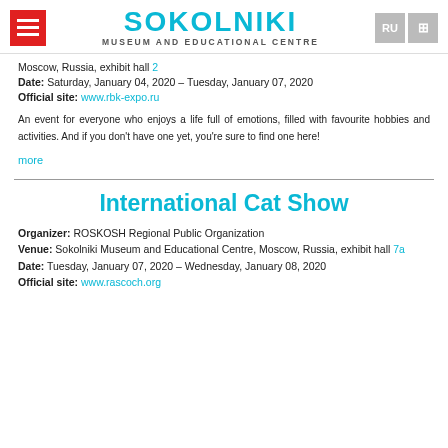SOKOLNIKI MUSEUM AND EDUCATIONAL CENTRE
Moscow, Russia, exhibit hall 2
Date: Saturday, January 04, 2020 – Tuesday, January 07, 2020
Official site: www.rbk-expo.ru
An event for everyone who enjoys a life full of emotions, filled with favourite hobbies and activities. And if you don't have one yet, you're sure to find one here!
more
International Cat Show
Organizer: ROSKOSH Regional Public Organization
Venue: Sokolniki Museum and Educational Centre, Moscow, Russia, exhibit hall 7a
Date: Tuesday, January 07, 2020 – Wednesday, January 08, 2020
Official site: www.rascoch.org